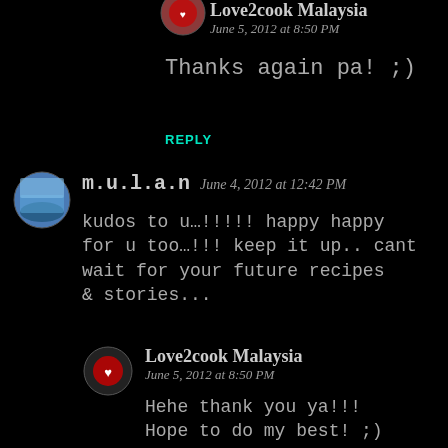Love2cook Malaysia
June 5, 2012 at 8:50 PM
Thanks again pa! ;)
REPLY
[Figure (photo): Round avatar of m.u.l.a.n user showing a lake/sky scene]
m.u.l.a.n   June 4, 2012 at 12:42 PM
kudos to u…!!!!! happy happy for u too…!!! keep it up.. cant wait for your future recipes & stories...
[Figure (photo): Round avatar of Love2cook Malaysia showing a heart logo]
Love2cook Malaysia
June 5, 2012 at 8:50 PM
Hehe thank you ya!!! Hope to do my best! ;)